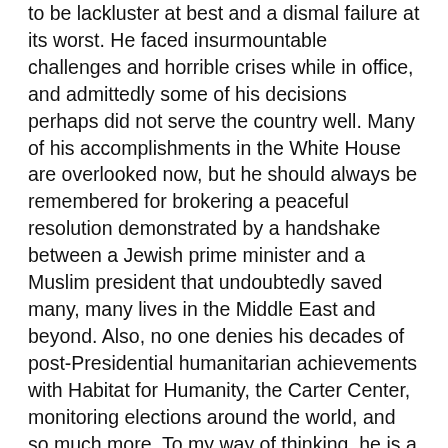to be lackluster at best and a dismal failure at its worst. He faced insurmountable challenges and horrible crises while in office, and admittedly some of his decisions perhaps did not serve the country well. Many of his accomplishments in the White House are overlooked now, but he should always be remembered for brokering a peaceful resolution demonstrated by a handshake between a Jewish prime minister and a Muslim president that undoubtedly saved many, many lives in the Middle East and beyond. Also, no one denies his decades of post-Presidential humanitarian achievements with Habitat for Humanity, the Carter Center, monitoring elections around the world, and so much more. To my way of thinking, he is a remarkable testimony to the charity and love most often identified with Jesus, the one he calls Savior. In the end, his Sunday